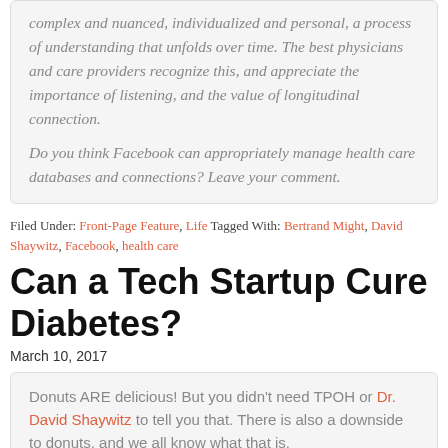complex and nuanced, individualized and personal, a process of understanding that unfolds over time. The best physicians and care providers recognize this, and appreciate the importance of listening, and the value of longitudinal connection. Do you think Facebook can appropriately manage health care databases and connections? Leave your comment.
Filed Under: Front-Page Feature, Life Tagged With: Bertrand Might, David Shaywitz, Facebook, health care
Can a Tech Startup Cure Diabetes?
March 10, 2017
Donuts ARE delicious! But you didn't need TPOH or Dr. David Shaywitz to tell you that. There is also a downside to donuts, and we all know what that is.